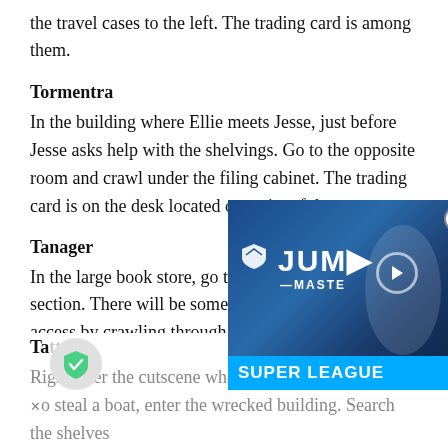the travel cases to the left. The trading card is among them.
Tormentra
In the building where Ellie meets Jesse, just before Jesse asks help with the shelvings. Go to the opposite room and crawl under the filing cabinet. The trading card is on the desk located opposite of the entrance.
Tanager
In the large book store, go to the cash register section. There will be some shelves that Ellie can access by crawling through the debris. The trading c[ard is on the] right shelf.
[Figure (screenshot): Advertisement overlay for JUMPMASTERS / Super League game, showing a female character in white outfit, logo with shield/wings icon, play button, and blue Super League banner.]
Tatte e
Right after the cutscene where Ellie and Jesse deci[de] to steal a boat, enter the wrecked building. Search the shelves